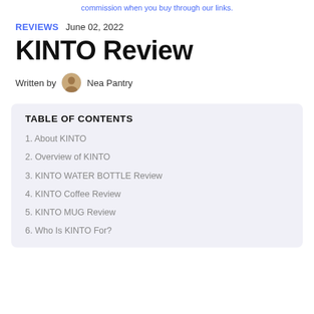commission when you buy through our links.
REVIEWS   June 02, 2022
KINTO Review
Written by  Nea Pantry
TABLE OF CONTENTS
1. About KINTO
2. Overview of KINTO
3. KINTO WATER BOTTLE Review
4. KINTO Coffee Review
5. KINTO MUG Review
6. Who Is KINTO For?